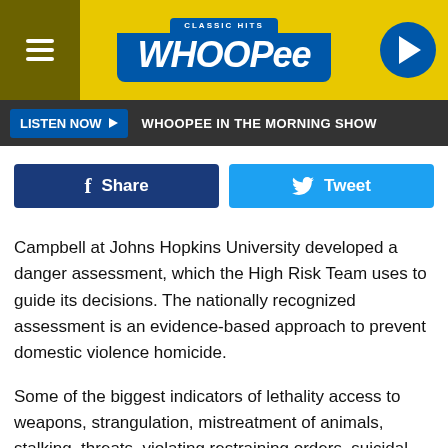CLASSIC HITS WHOOPEE | LISTEN NOW | WHOOPEE IN THE MORNING SHOW
[Figure (logo): Whoopee Classic Hits radio station logo on yellow background with hamburger menu and play button]
LISTEN NOW ▶  WHOOPEE IN THE MORNING SHOW
f Share   Tweet
Campbell at Johns Hopkins University developed a danger assessment, which the High Risk Team uses to guide its decisions. The nationally recognized assessment is an evidence-based approach to prevent domestic violence homicide.
Some of the biggest indicators of lethality access to weapons, strangulation, mistreatment of animals, stalking, threats, violating restraining orders, suicidal ideations, drug and alcohol use, mental health. By identifying the risk signs early, the group can provide targeted interventions.